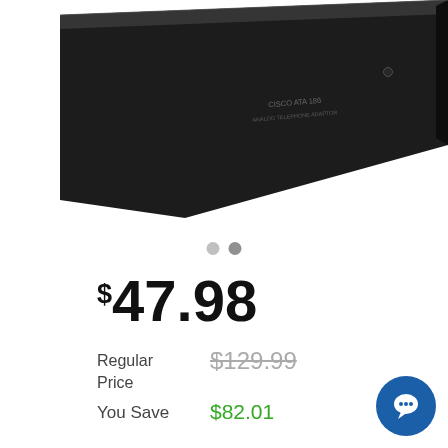[Figure (photo): Cisco ATA 186 Analog Telephone Adapter device, black, viewed from above at an angle on a white background]
$47.98
Regular Price  $129.99
You Save  $82.01
Status  Limited Availability
Request a Quote